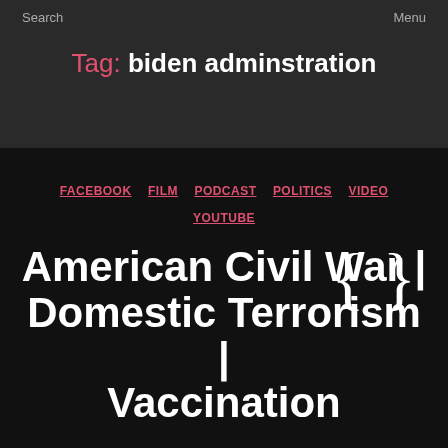Search    Menu
Tag: biden adminstration
FACEBOOK  FILM  PODCAST  POLITICS  VIDEO  YOUTUBE
American Civil War | Domestic Terrorism | Vaccination
By jlindsay  September 19, 2021  No Comments